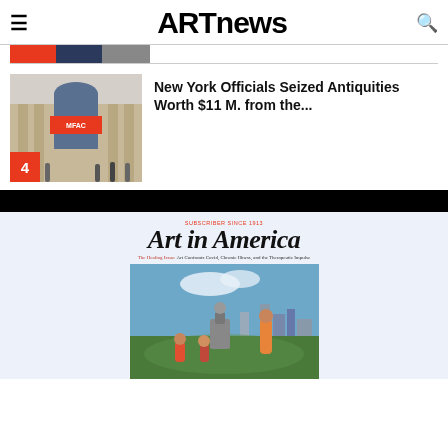ARTnews
[Figure (photo): Partial view of colored navigation strip with red, dark blue, and gray sections]
4 - New York Officials Seized Antiquities Worth $11 M. from the...
[Figure (photo): Museum facade with large arched window and red banner reading MFAC, people standing outside at bottom; number badge '4' in red at bottom left]
[Figure (other): Black banner bar]
[Figure (photo): Art in America magazine cover showing 'The Healing Issue: Art Confronts Covid, Chronic Illness, and the Therapeutic Impulse' with an outdoor scene of people gathered in a park with city skyline in background]